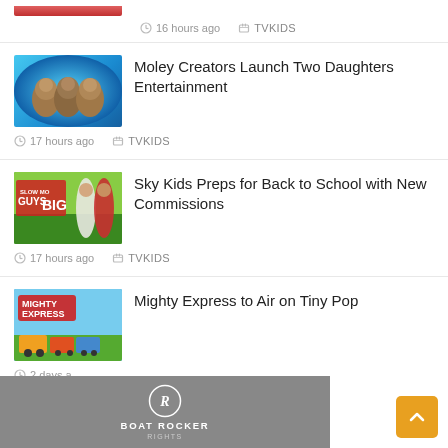16 hours ago  TVKIDS
[Figure (photo): Thumbnail image for Moley Creators article - animated animal characters in blue background]
Moley Creators Launch Two Daughters Entertainment
17 hours ago  TVKIDS
[Figure (photo): Thumbnail for Sky Kids article - Slow Mo Guys Big promo image with two men]
Sky Kids Preps for Back to School with New Commissions
17 hours ago  TVKIDS
[Figure (photo): Thumbnail for Mighty Express article - animated train characters]
Mighty Express to Air on Tiny Pop
2 days a...
[Figure (logo): Boat Rocker Rights logo on grey footer bar]